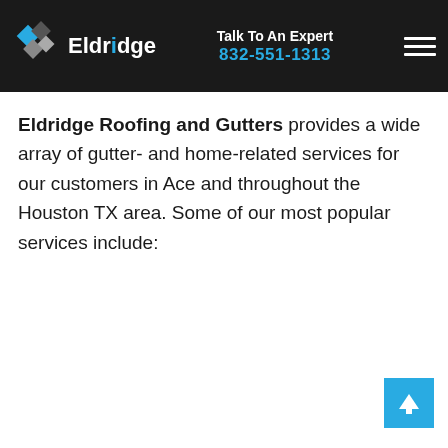Eldridge | Talk To An Expert 832-551-1313
Eldridge Roofing and Gutters provides a wide array of gutter- and home-related services for our customers in Ace and throughout the Houston TX area. Some of our most popular services include: